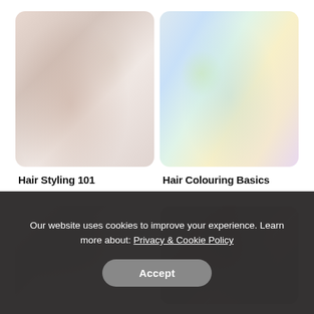[Figure (photo): Faded/washed out photo of a woman styling hair, side profile, light pinkish-beige tones]
[Figure (photo): Faded/washed out colorful photo with rainbow hues suggesting hair colouring or a colorful crowd scene]
Hair Styling 101
Hair Colouring Basics
[Figure (photo): Faded/washed out flat lay photo of makeup palette and brushes on white background]
[Figure (photo): Faded/washed out close-up photo of braided hair with dark tones and a small device visible]
Our website uses cookies to improve your experience. Learn more about: Privacy & Cookie Policy
Accept